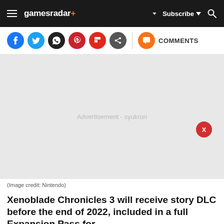gamesradar+ Subscribe
[Figure (screenshot): Social sharing icons row: Facebook, Twitter, WhatsApp, Pinterest, Flipboard, Share, divider, Comments button]
[Figure (other): Advertisement area with close button labeled X. Text: 'Advertisement - syukron']
(Image credit: Nintendo)
Xenoblade Chronicles 3 will receive story DLC before the end of 2022, included in a full Expansion Pass for